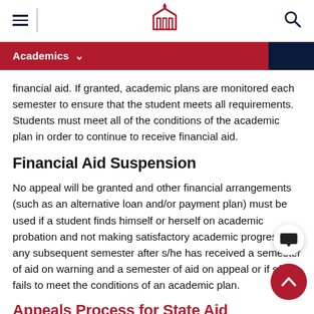Navigation bar with hamburger menu, university logo, and search icon
Academics navigation bar
financial aid. If granted, academic plans are monitored each semester to ensure that the student meets all requirements. Students must meet all of the conditions of the academic plan in order to continue to receive financial aid.
Financial Aid Suspension
No appeal will be granted and other financial arrangements (such as an alternative loan and/or payment plan) must be used if a student finds himself or herself on academic probation and not making satisfactory academic progress in any subsequent semester after s/he has received a semester of aid on warning and a semester of aid on appeal or if s/he fails to meet the conditions of an academic plan.
Appeals Process for State Aid